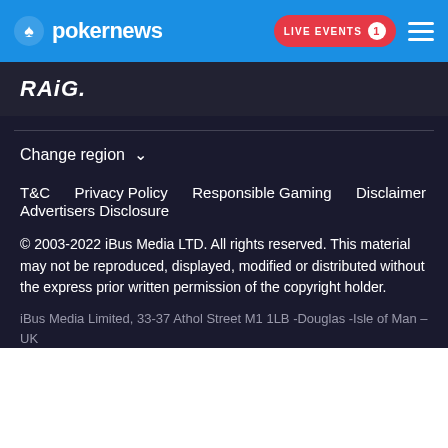pokernews — LIVE EVENTS 1
[Figure (logo): RAiG. logo in white bold italic text on dark background]
Change region ∨
T&C   Privacy Policy   Responsible Gaming   Disclaimer   Advertisers Disclosure
© 2003-2022 iBus Media LTD. All rights reserved. This material may not be reproduced, displayed, modified or distributed without the express prior written permission of the copyright holder.
iBus Media Limited, 33-37 Athol Street M1 1LB -Douglas -Isle of Man –UK